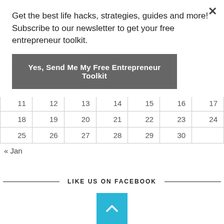Get the best life hacks, strategies, guides and more! Subscribe to our newsletter to get your free entrepreneur toolkit.
Yes, Send Me My Free Entrepreneur Toolkit
|  |  |  |  |  |  |  |
| --- | --- | --- | --- | --- | --- | --- |
| 11 | 12 | 13 | 14 | 15 | 16 | 17 |
| 18 | 19 | 20 | 21 | 22 | 23 | 24 |
| 25 | 26 | 27 | 28 | 29 | 30 |  |
« Jan
LIKE US ON FACEBOOK
[Figure (other): Scroll to top button — cyan/teal square with upward chevron arrow]